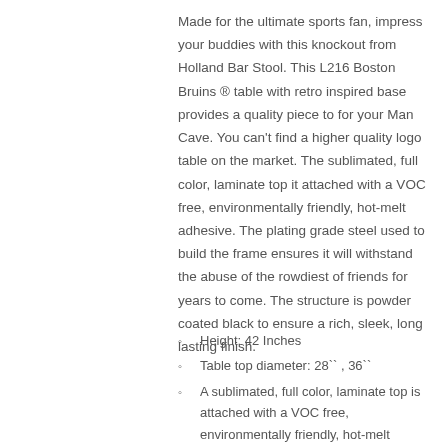Made for the ultimate sports fan, impress your buddies with this knockout from Holland Bar Stool. This L216 Boston Bruins ® table with retro inspired base provides a quality piece to for your Man Cave. You can't find a higher quality logo table on the market. The sublimated, full color, laminate top it attached with a VOC free, environmentally friendly, hot-melt adhesive. The plating grade steel used to build the frame ensures it will withstand the abuse of the rowdiest of friends for years to come. The structure is powder coated black to ensure a rich, sleek, long lasting finish.
Height: 42 Inches
Table top diameter: 28`` , 36``
A sublimated, full color, laminate top is attached with a VOC free, environmentally friendly, hot-melt adhesive